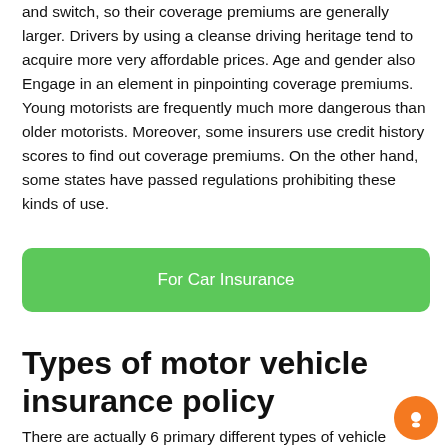and switch, so their coverage premiums are generally larger. Drivers by using a cleanse driving heritage tend to acquire more very affordable prices. Age and gender also Engage in an element in pinpointing coverage premiums. Young motorists are frequently much more dangerous than older motorists. Moreover, some insurers use credit history scores to find out coverage premiums. On the other hand, some states have passed regulations prohibiting these kinds of use.
For Car Insurance
Types of motor vehicle insurance policy
There are actually 6 primary different types of vehicle